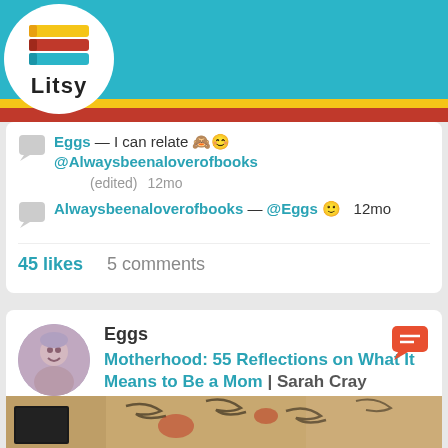[Figure (screenshot): Litsy app navigation bar with logo, home, search, add, activity and profile icons on teal background with yellow and red stripes]
Eggs — I can relate 🙈😊 @Alwaysbeenaloverofbooks (edited) 12mo
Alwaysbeenaloverofbooks — @Eggs 🙂 12mo
45 likes   5 comments
Eggs
Motherhood: 55 Reflections on What It Means to Be a Mom | Sarah Cray
[Figure (photo): Bottom portion showing book with tattoo-style artwork background]